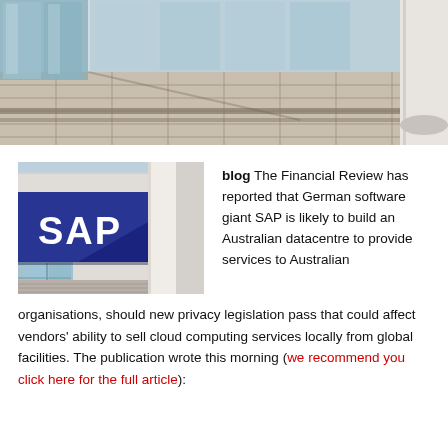[Figure (photo): Exterior photo of a modern glass building with a tiled plaza/walkway and a white column, shot from a low angle.]
[Figure (photo): Photo of a SAP office building entrance with large SAP logo on a dark blue background, glass doors, and a white column.]
blog The Financial Review has reported that German software giant SAP is likely to build an Australian datacentre to provide services to Australian organisations, should new privacy legislation pass that could affect vendors' ability to sell cloud computing services locally from global facilities. The publication wrote this morning (we recommend you click here for the full article):